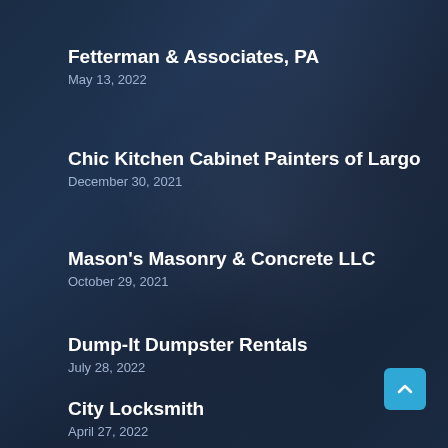Fetterman & Associates, PA
May 13, 2022
Chic Kitchen Cabinet Painters of Largo
December 30, 2021
Mason's Masonry & Concrete LLC
October 29, 2021
Dump-It Dumpster Rentals
July 28, 2022
City Locksmith
April 27, 2022